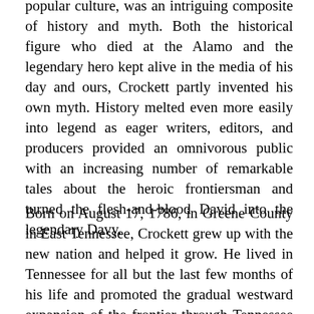popular culture, was an intriguing composite of history and myth. Both the historical figure who died at the Alamo and the legendary hero kept alive in the media of his day and ours, Crockett partly invented his own myth. History melted even more easily into legend as eager writers, editors, and producers provided an omnivorous public with an increasing number of remarkable tales about the heroic frontiersman and turned the flesh-and-blood David into the legendary Davy.
Born on August 17, 1786, in Greene County in East Tennessee, Crockett grew up with the new nation and helped it grow. He lived in Tennessee for all but the last few months of his life and promoted the gradual westward expansion of the frontier through Tennessee toward Texas. In his search for a better life for himself and his family, he participated in a process that we now call the American dream.